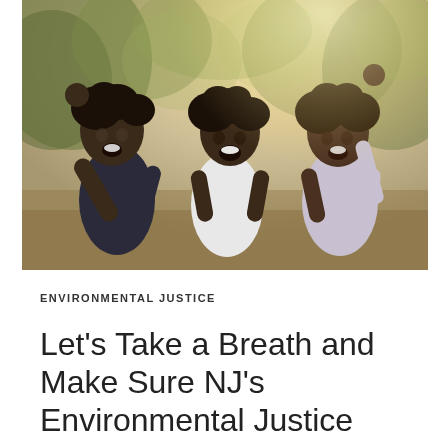[Figure (photo): Three joyful Black children with curly hair, arms raised, smiling and laughing outdoors with blurred green trees in the background. The leftmost child wears a dark navy shirt, the middle child wears a white shirt, and the right child wears a light lavender shirt.]
ENVIRONMENTAL JUSTICE
Let's Take a Breath and Make Sure NJ's Environmental Justice